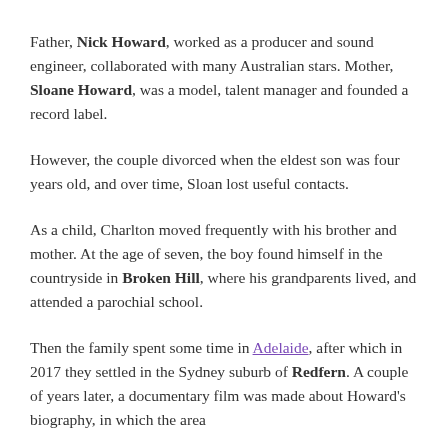Father, Nick Howard, worked as a producer and sound engineer, collaborated with many Australian stars. Mother, Sloane Howard, was a model, talent manager and founded a record label.
However, the couple divorced when the eldest son was four years old, and over time, Sloan lost useful contacts.
As a child, Charlton moved frequently with his brother and mother. At the age of seven, the boy found himself in the countryside in Broken Hill, where his grandparents lived, and attended a parochial school.
Then the family spent some time in Adelaide, after which in 2017 they settled in the Sydney suburb of Redfern. A couple of years later, a documentary film was made about Howard's biography, in which the area